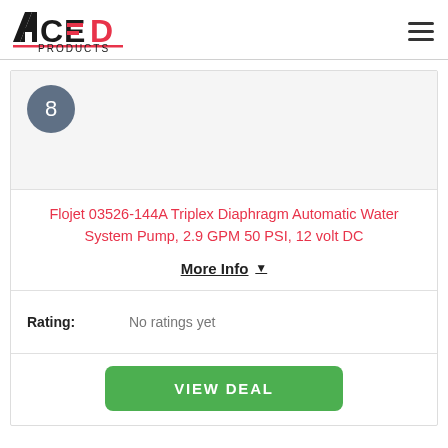[Figure (logo): ACED Products logo — black and red stylized text with underline]
[Figure (other): Number 8 inside a dark grey circle badge]
Flojet 03526-144A Triplex Diaphragm Automatic Water System Pump, 2.9 GPM 50 PSI, 12 volt DC
More Info ▼
Rating: No ratings yet
VIEW DEAL